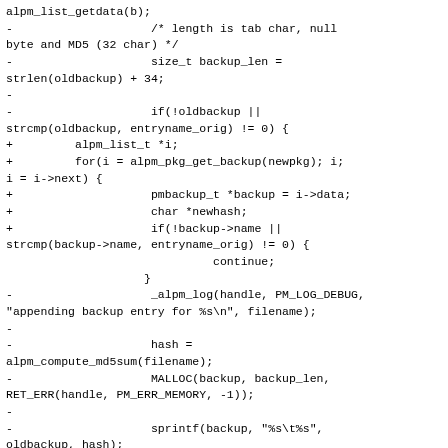alpm_list_getdata(b);
-                    /* length is tab char, null byte and MD5 (32 char) */
-                    size_t backup_len =
strlen(oldbackup) + 34;
-
-                    if(!oldbackup ||
strcmp(oldbackup, entryname_orig) != 0) {
+         alpm_list_t *i;
+         for(i = alpm_pkg_get_backup(newpkg); i;
i = i->next) {
+                    pmbackup_t *backup = i->data;
+                    char *newhash;
+                    if(!backup->name ||
strcmp(backup->name, entryname_orig) != 0) {
                              continue;
                    }
-                    _alpm_log(handle, PM_LOG_DEBUG,
"appending backup entry for %s\n", filename);
-
-                    hash =
alpm_compute_md5sum(filename);
-                    MALLOC(backup, backup_len,
RET_ERR(handle, PM_ERR_MEMORY, -1));
-
-                    sprintf(backup, "%s\t%s",
oldbackup, hash);
-                    backup[backup_len-1] = '\0';
-                    FREE(hash);
-                    FREE(oldbackup);